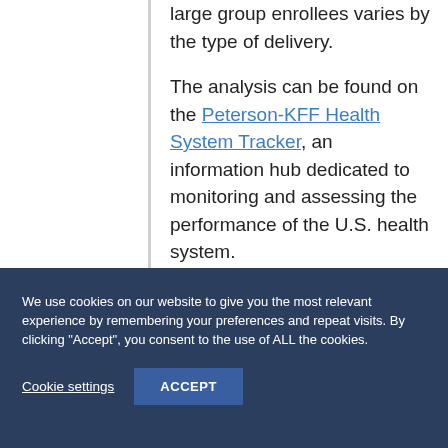large group enrollees varies by the type of delivery.
The analysis can be found on the Peterson-KFF Health System Tracker, an information hub dedicated to monitoring and assessing the performance of the U.S. health system.
We use cookies on our website to give you the most relevant experience by remembering your preferences and repeat visits. By clicking "Accept", you consent to the use of ALL the cookies.
Cookie settings
ACCEPT